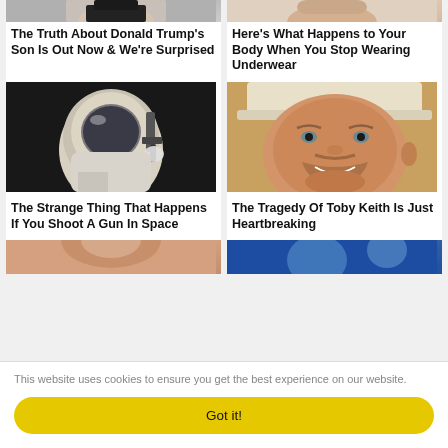[Figure (photo): Partial photo of a person (Donald Trump's son), cropped at top]
[Figure (photo): Partial photo of a person, cropped at top (underwear article)]
The Truth About Donald Trump's Son Is Out Now & We're Surprised
Here's What Happens to Your Body When You Stop Wearing Underwear
[Figure (photo): Astronaut in space suit holding a gun against dark background]
[Figure (photo): Close-up portrait of Toby Keith smiling, wearing a hat]
The Strange Thing That Happens If You Shoot A Gun In Space
The Tragedy Of Toby Keith Is Just Heartbreaking
[Figure (photo): Partial photo of a woman, cropped at bottom]
[Figure (photo): Partial photo with blue tones, cropped at bottom]
This website uses cookies to ensure you get the best experience on our website.
Got it!